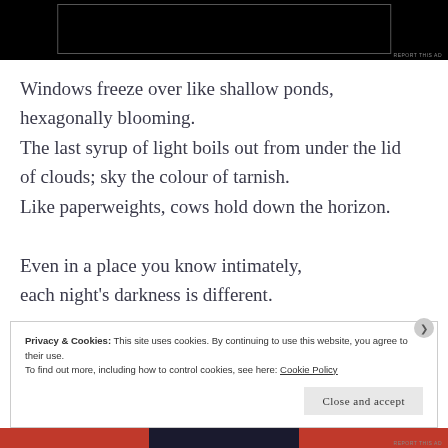[Figure (other): Advertisement banner with black background and a rectangular border element]
Windows freeze over like shallow ponds,
hexagonally blooming.
The last syrup of light boils out from under the lid
of clouds; sky the colour of tarnish.
Like paperweights, cows hold down the horizon.

Even in a place you know intimately,
each night's darkness is different.
Privacy & Cookies: This site uses cookies. By continuing to use this website, you agree to their use.
To find out more, including how to control cookies, see here: Cookie Policy
Close and accept